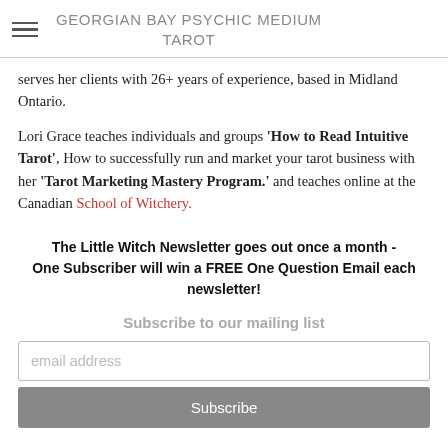GEORGIAN BAY PSYCHIC MEDIUM TAROT
serves her clients with 26+ years of experience, based in Midland Ontario.
Lori Grace teaches individuals and groups 'How to Read Intuitive Tarot', How to successfully run and market your tarot business with her 'Tarot Marketing Mastery Program.' and teaches online at the Canadian School of Witchery.
The Little Witch Newsletter goes out once a month - One Subscriber will win a FREE One Question Email each newsletter!
Subscribe to our mailing list
email address
Subscribe